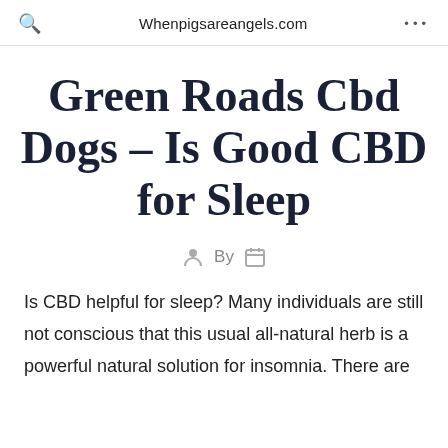Whenpigsareangels.com
Green Roads Cbd Dogs – Is Good CBD for Sleep
By
Is CBD helpful for sleep? Many individuals are still not conscious that this usual all-natural herb is a powerful natural solution for insomnia. There are